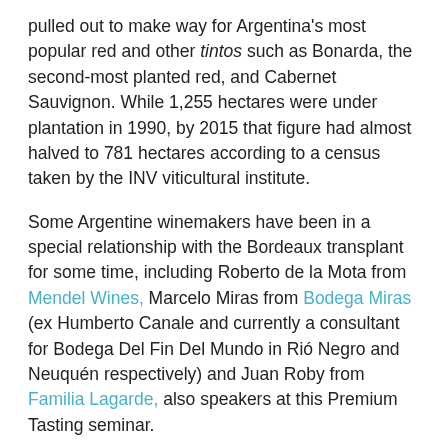pulled out to make way for Argentina's most popular red and other tintos such as Bonarda, the second-most planted red, and Cabernet Sauvignon. While 1,255 hectares were under plantation in 1990, by 2015 that figure had almost halved to 781 hectares according to a census taken by the INV viticultural institute.
Some Argentine winemakers have been in a special relationship with the Bordeaux transplant for some time, including Roberto de la Mota from Mendel Wines, Marcelo Miras from Bodega Miras (ex Humberto Canale and currently a consultant for Bodega Del Fin Del Mundo in Rió Negro and Neuquén respectively) and Juan Roby from Familia Lagarde, also speakers at this Premium Tasting seminar.
De la Mota said: "[Argentina] used to have a lot of [Semillón] vines but numbers went down in the 2015 census. It's mainly used as a sparkling wine base these days by many as it can be harvested early."
Mendel's Semillon is one of Argentina's legendary dry whites,